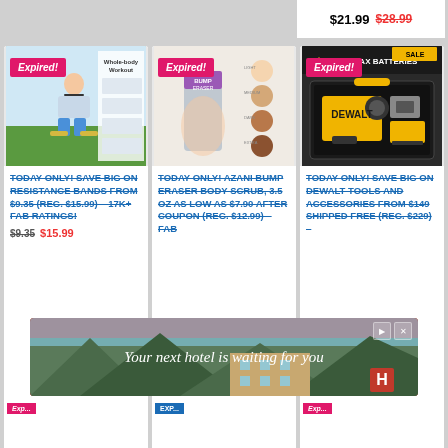$21.99  $28.99
[Figure (photo): Expired deal card: Fitness resistance bands workout – woman squatting with resistance band, exercise guide chart]
TODAY ONLY! SAVE BIG ON RESISTANCE BANDS FROM $9.35 (REG. $15.99) – 17K+ FAB RATINGS!
$9.35  $15.99
[Figure (photo): Expired deal card: Azani Bump Eraser body scrub product – hand holding a cylindrical scrub container, color swatches on right]
TODAY ONLY! AZANI BUMP ERASER BODY SCRUB, 3.5 OZ AS LOW AS $7.90 AFTER COUPON (REG. $12.99) – FAB
[Figure (photo): Expired deal card: DeWalt tools and accessories drill set in black carrying case with yellow DeWalt branding]
TODAY ONLY! SAVE BIG ON DEWALT TOOLS AND ACCESSORIES FROM $149 SHIPPED FREE (REG. $229) –
[Figure (screenshot): Advertisement banner: 'Your next hotel is waiting for you' with hotel/resort imagery background, red background with play and close buttons]